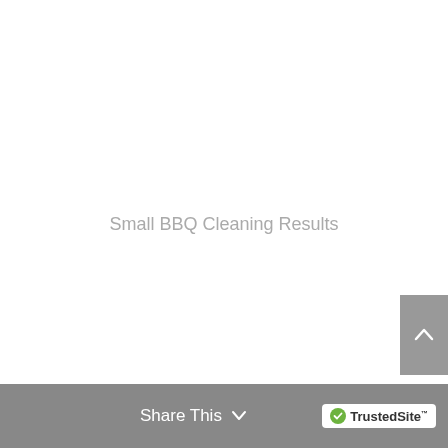Small BBQ Cleaning Results
Share This  TrustedSite